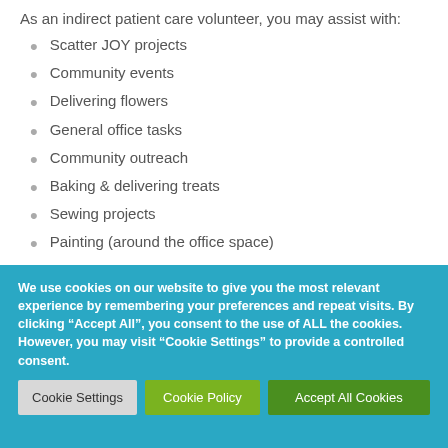As an indirect patient care volunteer, you may assist with:
Scatter JOY projects
Community events
Delivering flowers
General office tasks
Community outreach
Baking & delivering treats
Sewing projects
Painting (around the office space)
Gardening & yardwork
Crafting
We use cookies on our website to give you the most relevant experience by remembering your preferences and repeat visits. By clicking “Accept All”, you consent to the use of ALL the cookies. However, you may visit "Cookie Settings" to provide a controlled consent.